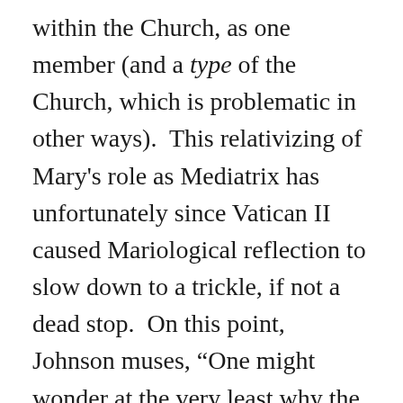within the Church, as one member (and a type of the Church, which is problematic in other ways). This relativizing of Mary's role as Mediatrix has unfortunately since Vatican II caused Mariological reflection to slow down to a trickle, if not a dead stop. On this point, Johnson muses, “One might wonder at the very least why the conciliar breakthrough regarding Mary as model of the church did not catch the imagination of the faithful” (131). (However, I in no way deny the fact that many Catholics still practice devotion to Mary in the preconciliar style.) In other words, it seems to me, descriptively, that if the majority of Catholics no longer view Mary as some larger-